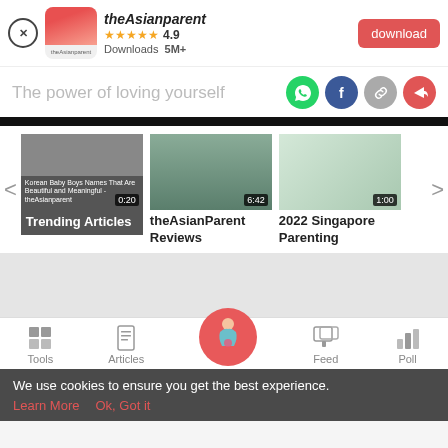[Figure (screenshot): App banner for theAsianparent with app icon, star rating 4.9, Downloads 5M+, and download button]
The power of loving yourself
[Figure (infographic): Share icons: WhatsApp, Facebook, Link, Share]
[Figure (screenshot): Video carousel with three video thumbnails: Trending Articles (0:20), theAsianParent Reviews (6:42), 2022 Singapore Parenting (1:00), with left/right arrows]
[Figure (infographic): Bottom navigation bar with Tools, Articles, center pregnancy icon, Feed, Poll]
We use cookies to ensure you get the best experience.
Learn More   Ok, Got it